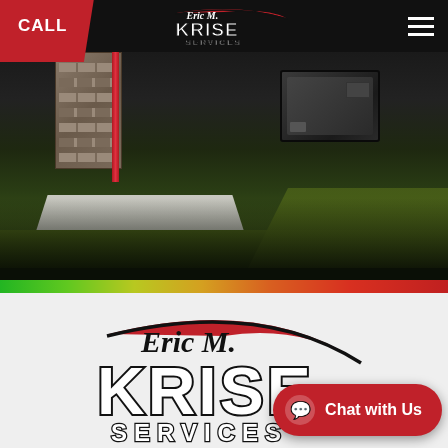CALL | Eric M. Krise Services (navigation bar with hamburger menu)
[Figure (photo): Outdoor photograph showing a generator/equipment unit on grass next to a stone pillar and red pole, with a driveway visible. Dark overlay at bottom. Eric M. Krise Services logo overlaid in header.]
[Figure (logo): Eric M. Krise Services logo — large version on light gray background]
Chat with Us